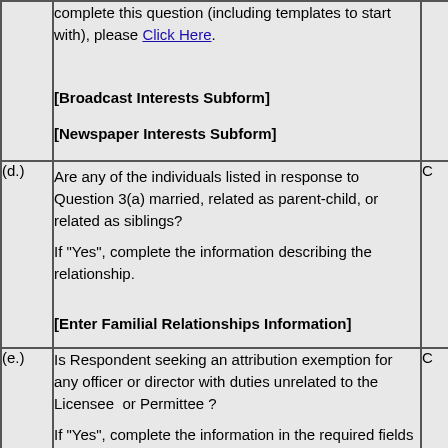complete this question (including templates to start with), please Click Here.

[Broadcast Interests Subform]

[Newspaper Interests Subform]
(d.) Are any of the individuals listed in response to Question 3(a) married, related as parent-child, or related as siblings?

If "Yes", complete the information describing the relationship.

[Enter Familial Relationships Information]
(e.) Is Respondent seeking an attribution exemption for any officer or director with duties unrelated to the Licensee or Permittee?

If "Yes", complete the information in the required fields